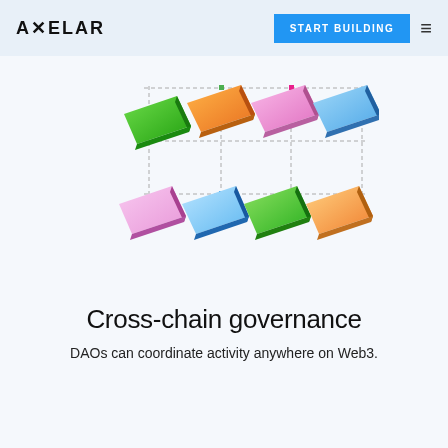AXELAR | START BUILDING
[Figure (illustration): Eight colorful 3D parallelogram/tile shapes arranged in two rows of four, with colors green, orange, pink, and blue, connected by dashed grid lines on a light blue background.]
Cross-chain governance
DAOs can coordinate activity anywhere on Web3.